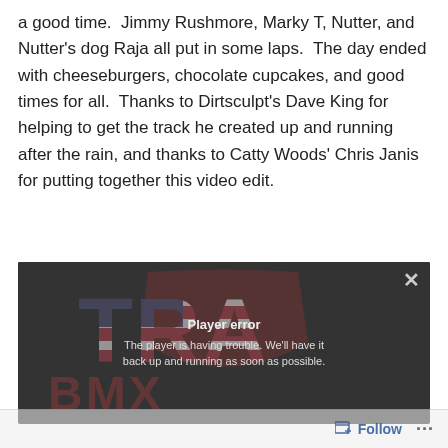a good time.  Jimmy Rushmore, Marky T, Nutter, and Nutter's dog Raja all put in some laps.  The day ended with cheeseburgers, chocolate cupcakes, and good times for all.  Thanks to Dirtsculpt's Dave King for helping to get the track he created up and running after the rain, and thanks to Catty Woods' Chris Janis for putting together this video edit.
[Figure (screenshot): Embedded video player showing a TRA BMX logo (American flag lettering) with a 'Player error' overlay message reading 'The player is having trouble. We'll have it back up and running as soon as possible.' with an X close button in the top right.]
Follow ...